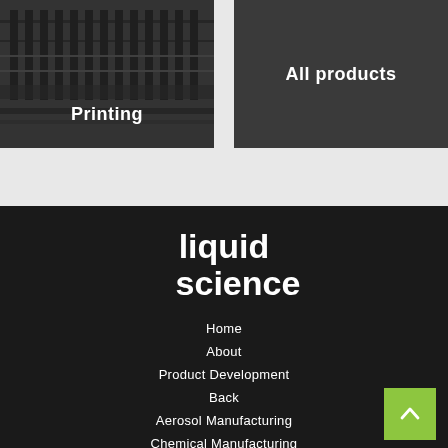[Figure (photo): Printing machinery photo with 'Printing' label overlay]
All products
[Figure (logo): liquid science logo in white text on dark background]
Home
About
Product Development
Back
Aerosol Manufacturing
Chemical Manufacturing
Our Products